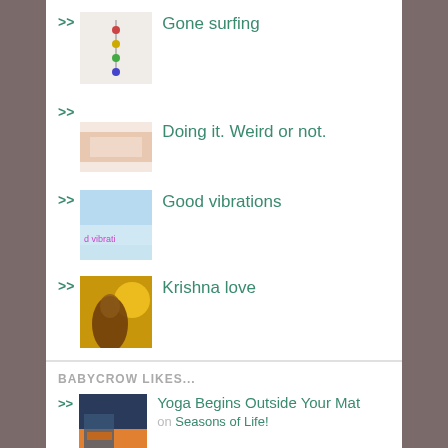>> Gone surfing
>> Doing it. Weird or not.
>> Good vibrations
>> Krishna love
BABYCROW LIKES...
>> Yoga Begins Outside Your Mat on Seasons of Life!
>> Transition and change: What we… on Peach Yoga
>> "Learning deeply means learnin…